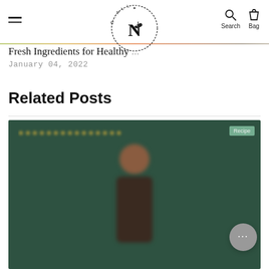NATUR.ALL — Search, Bag navigation
[Figure (photo): Colorful fresh ingredients hero image strip at top of page]
Fresh Ingredients for Healthy ...
January 04, 2022
Related Posts
[Figure (photo): Woman with natural hair against dark green background, related blog post thumbnail]